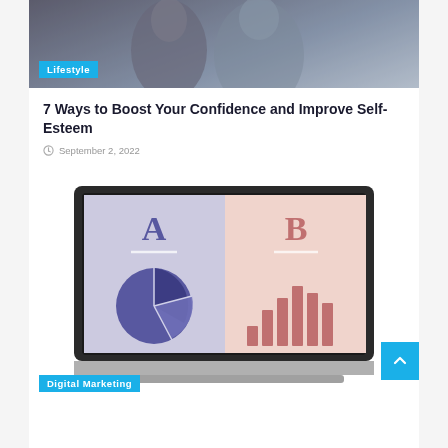[Figure (photo): Hero image of a person at the top of the card, with a 'Lifestyle' badge overlay]
Lifestyle
7 Ways to Boost Your Confidence and Improve Self-Esteem
September 2, 2022
[Figure (illustration): Illustration of a laptop screen showing an A/B testing graphic — left side (A) has a blue/purple pie chart on a lavender background; right side (B) has a coral bar chart on a pink background. A 'Digital Marketing' badge appears below.]
Digital Marketing